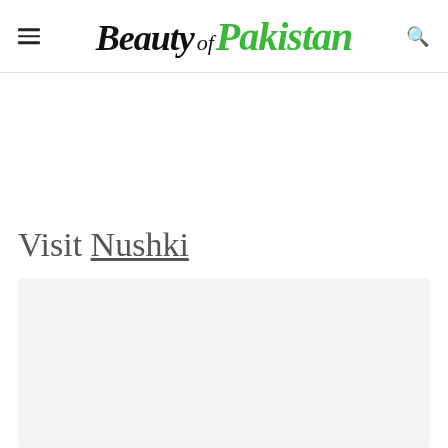Beauty of Pakistan
Visit Nushki
[Figure (other): Gray placeholder content box below the Visit Nushki heading]